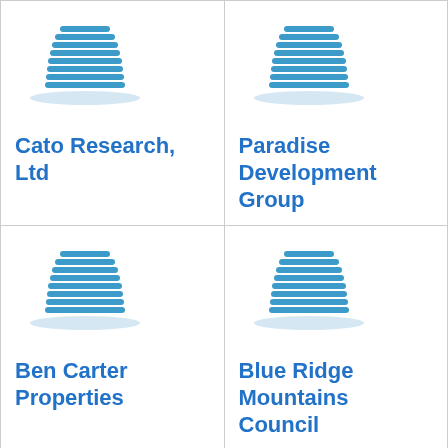[Figure (logo): Blue building/skyscraper icon for Cato Research, Ltd]
Cato Research, Ltd
[Figure (logo): Blue building/skyscraper icon for Paradise Development Group]
Paradise Development Group
[Figure (logo): Blue building/skyscraper icon for Ben Carter Properties]
Ben Carter Properties
[Figure (logo): Blue building/skyscraper icon for Blue Ridge Mountains Council]
Blue Ridge Mountains Council
[Figure (logo): Blue building/skyscraper icon (partially visible, bottom left)]
[Figure (logo): Blue building/skyscraper icon (partially visible, bottom right)]